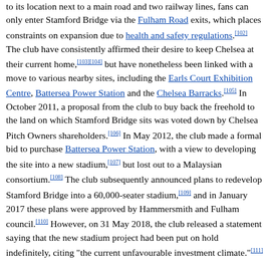to its location next to a main road and two railway lines, fans can only enter Stamford Bridge via the Fulham Road exits, which places constraints on expansion due to health and safety regulations.[102] The club have consistently affirmed their desire to keep Chelsea at their current home,[103][104] but have nonetheless been linked with a move to various nearby sites, including the Earls Court Exhibition Centre, Battersea Power Station and the Chelsea Barracks.[105] In October 2011, a proposal from the club to buy back the freehold to the land on which Stamford Bridge sits was voted down by Chelsea Pitch Owners shareholders.[106] In May 2012, the club made a formal bid to purchase Battersea Power Station, with a view to developing the site into a new stadium,[107] but lost out to a Malaysian consortium.[108] The club subsequently announced plans to redevelop Stamford Bridge into a 60,000-seater stadium,[109] and in January 2017 these plans were approved by Hammersmith and Fulham council.[110] However, on 31 May 2018, the club released a statement saying that the new stadium project had been put on hold indefinitely, citing "the current unfavourable investment climate."[111]
In July 2022, it was reported that the club's new owner Todd Boehly had appointed American architect Janet Marie Smith to oversee the renovation of the stadium.[112]